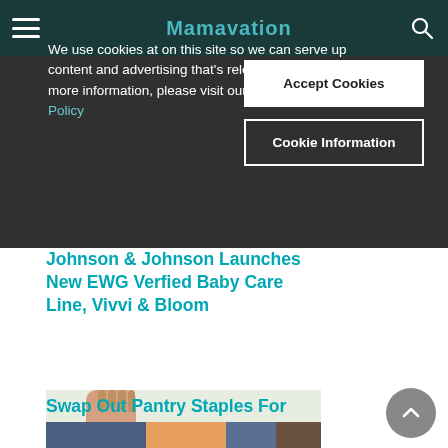Mamavation (navigation bar)
We use cookies at on this site so we can serve up content and advertising that's relevant to you. For more information, please visit our Privacy and Cookie Policy
Accept Cookies
Cookie Information
Johnson & Johnson Launches New EWG Verfied Baby Care Line, Vivvi & Bloom
[Figure (photo): Hand pouring Gotham Greens dressing bottle over a salad bowl]
Swap Out Pantry Staples For These Better-For-You Options
[Figure (photo): Person's hands working on a puzzle or craft project on a table]